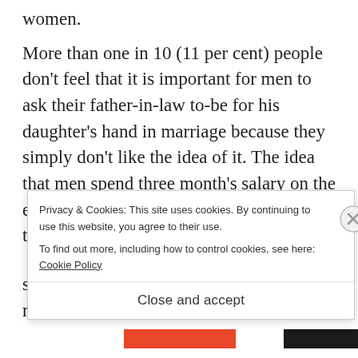women.
More than one in 10 (11 per cent) people don't feel that it is important for men to ask their father-in-law to-be for his daughter's hand in marriage because they simply don't like the idea of it. The idea that men spend three month's salary on the engagement ring is a myth. Nearly two thirds (65 per cent) of men s... n...
Privacy & Cookies: This site uses cookies. By continuing to use this website, you agree to their use.
To find out more, including how to control cookies, see here: Cookie Policy
Close and accept